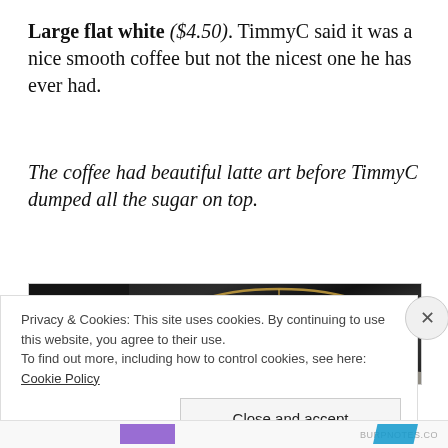Large flat white ($4.50). TimmyC said it was a nice smooth coffee but not the nicest one he has ever had.
The coffee had beautiful latte art before TimmyC dumped all the sugar on top.
[Figure (photo): Close-up photo of a flat white coffee cup showing latte art with swirling golden-brown lines against a dark background.]
Privacy & Cookies: This site uses cookies. By continuing to use this website, you agree to their use.
To find out more, including how to control cookies, see here: Cookie Policy
Close and accept